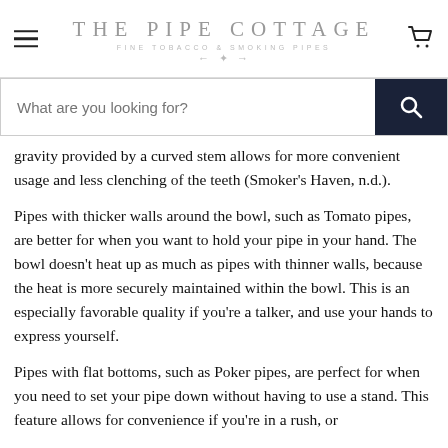THE PIPE COTTAGE — FINE TOBACCO & SMOKING PIPES
gravity provided by a curved stem allows for more convenient usage and less clenching of the teeth (Smoker's Haven, n.d.).
Pipes with thicker walls around the bowl, such as Tomato pipes, are better for when you want to hold your pipe in your hand. The bowl doesn't heat up as much as pipes with thinner walls, because the heat is more securely maintained within the bowl. This is an especially favorable quality if you're a talker, and use your hands to express yourself.
Pipes with flat bottoms, such as Poker pipes, are perfect for when you need to set your pipe down without having to use a stand. This feature allows for convenience if you're in a rush, or